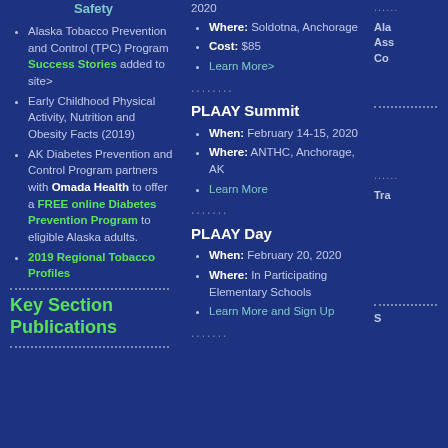Safety
Alaska Tobacco Prevention and Control (TPC) Program Success Stories added to site>
Early Childhood Physical Activity, Nutrition and Obesity Facts (2019)
AK Diabetes Prevention and Control Program partners with Omada Health to offer a FREE online Diabetes Prevention Program to eligible Alaska adults.
2019 Regional Tobacco Profiles
Key Section Publications
2020
Where: Soldotna, Anchorage
Cost: $85
Learn More>
PLAAY Summit
When: February 14-15, 2020
Where: ANTHC, Anchorage, AK
Learn More
PLAAY Day
When: February 20, 2020
Where: In Participating Elementary Schools
Learn More and Sign Up